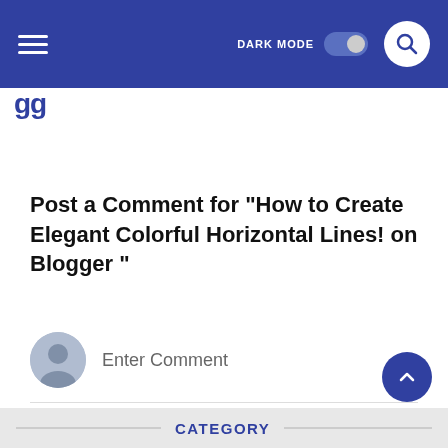DARK MODE [toggle]
Post a Comment for "How to Create Elegant Colorful Horizontal Lines! on Blogger "
Enter Comment
CATEGORY